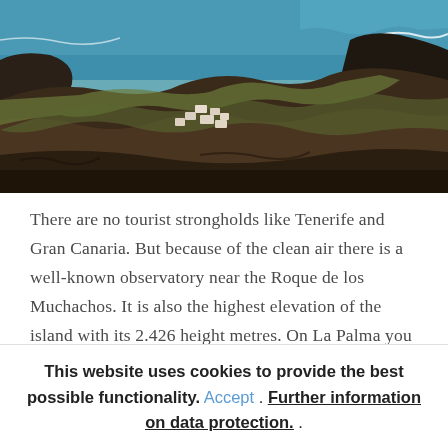[Figure (photo): Aerial/elevated view of volcanic rocky landscape with small white coastal village buildings visible among dark lava rocks, turquoise ocean with white waves in the background, and scrubby vegetation on hillsides. Canary Islands (La Palma).]
There are no tourist strongholds like Tenerife and Gran Canaria. But because of the clean air there is a well-known observatory near the Roque de los Muchachos. It is also the highest elevation of the island with its 2.426 height metres. On La Palma you can hike quite high up to the rocks and volcanic edges. Also on La Palma there are pine and laurel forests...
This website uses cookies to provide the best possible functionality. Accept . Further information on data protection. .